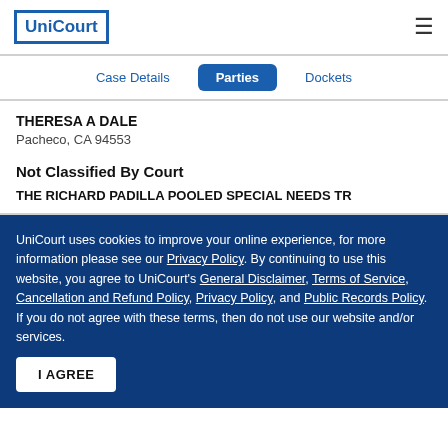UniCourt
Case Details | Parties | Dockets
THERESA A DALE
Pacheco, CA 94553
Not Classified By Court
THE RICHARD PADILLA POOLED SPECIAL NEEDS TR
UniCourt uses cookies to improve your online experience, for more information please see our Privacy Policy. By continuing to use this website, you agree to UniCourt's General Disclaimer, Terms of Service, Cancellation and Refund Policy, Privacy Policy, and Public Records Policy. If you do not agree with these terms, then do not use our website and/or services.
I AGREE